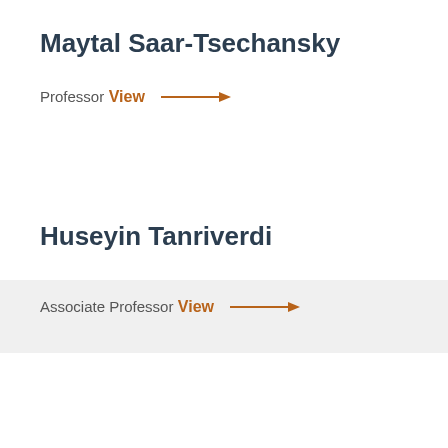Maytal Saar-Tsechansky
Professor
View →
Huseyin Tanriverdi
Associate Professor
View →